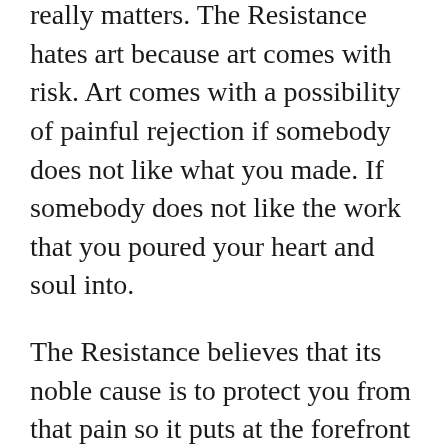really matters. The Resistance hates art because art comes with risk. Art comes with a possibility of painful rejection if somebody does not like what you made. If somebody does not like the work that you poured your heart and soul into.
The Resistance believes that its noble cause is to protect you from that pain so it puts at the forefront of your mind the possibilities for failure and minimizes any vision of success.
When my daughter was faced with